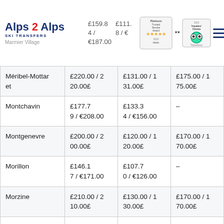Alps 2 Alps SKI TRANSFERS
| Destination | Price 1 | Price 2 | Price 3 |
| --- | --- | --- | --- |
| Méribel-Mottaret | £220.00 / 220.00£ | £131.00 / 131.00£ | £175.00 / 175.00£ |
| Montchavin | £177.79 / €208.00 | £133.34 / €156.00 | – |
| Montgenevre | £200.00 / 200.00£ | £120.00 / 120.00£ | £170.00 / 170.00£ |
| Morillon | £146.17 / €171.00 | £107.70 / €126.00 | – |
| Morzine | £210.00 / 210.00£ | £130.00 / 130.00£ | £170.00 / 170.00£ |
| Oz en Oisans | £103.43 / €121.00 | £111.12 / €130.00 | – |
| Plagne Montalbert | £177.79 / €208.00 | £133.34 / €156.00 | – |
| Saint Francois... | £150.x | £100.x | £101.x |